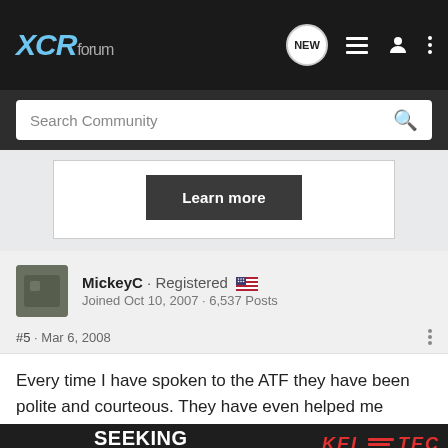XCRforum
Search Community
[Figure (screenshot): Learn more button in a white ad box]
MickeyC · Registered
Joined Oct 10, 2007 · 6,537 Posts
#5 · Mar 6, 2008
Every time I have spoken to the ATF they have been polite and courteous. They have even helped me understand rights I did not realize I had. My understanding is that if you obey the law then the...rd. Maybe t...they are just...astard
[Figure (advertisement): Kel-Tec CP33 pistol advertisement — SEEKING LONG RANGE RELATIONSHIP, Buy Now]